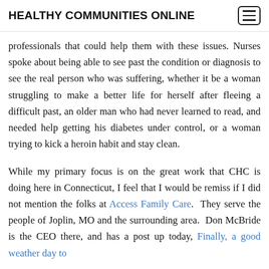HEALTHY COMMUNITIES ONLINE
professionals that could help them with these issues. Nurses spoke about being able to see past the condition or diagnosis to see the real person who was suffering, whether it be a woman struggling to make a better life for herself after fleeing a difficult past, an older man who had never learned to read, and needed help getting his diabetes under control, or a woman trying to kick a heroin habit and stay clean.
While my primary focus is on the great work that CHC is doing here in Connecticut, I feel that I would be remiss if I did not mention the folks at Access Family Care. They serve the people of Joplin, MO and the surrounding area. Don McBride is the CEO there, and has a post up today, Finally, a good weather day to